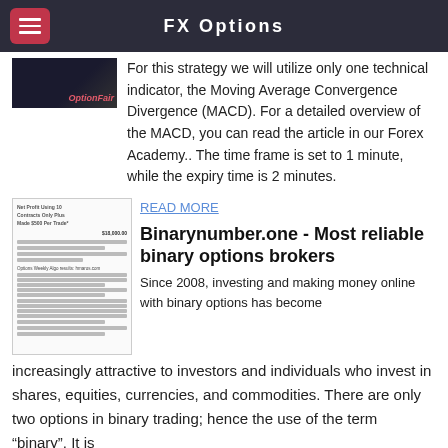FX Options
[Figure (screenshot): Screenshot of OptionFair trading platform interface with dark background]
For this strategy we will utilize only one technical indicator, the Moving Average Convergence Divergence (MACD). For a detailed overview of the MACD, you can read the article in our Forex Academy.. The time frame is set to 1 minute, while the expiry time is 2 minutes.
[Figure (screenshot): Document showing trading results table with Net Profit Using 10 Contracts Only Plus Made $500 Per Trade, showing $18,000.00 profit figure and Options Weekly Algo results]
READ MORE
Binarynumber.one - Most reliable binary options brokers
Since 2008, investing and making money online with binary options has become increasingly attractive to investors and individuals who invest in shares, equities, currencies, and commodities. There are only two options in binary trading; hence the use of the term “binary”. It is almost like placing a bet in that the two scenarios suggest that an asset will